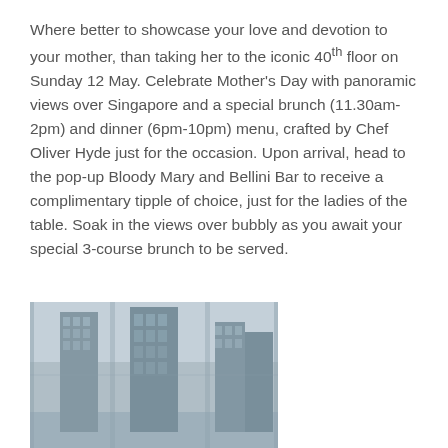Where better to showcase your love and devotion to your mother, than taking her to the iconic 40th floor on Sunday 12 May. Celebrate Mother's Day with panoramic views over Singapore and a special brunch (11.30am-2pm) and dinner (6pm-10pm) menu, crafted by Chef Oliver Hyde just for the occasion. Upon arrival, head to the pop-up Bloody Mary and Bellini Bar to receive a complimentary tipple of choice, just for the ladies of the table. Soak in the views over bubbly as you await your special 3-course brunch to be served.
[Figure (photo): Grayscale/blue-tinted photo of Singapore Marina Bay Sands building and skyline viewed from an elevated floor through glass windows.]